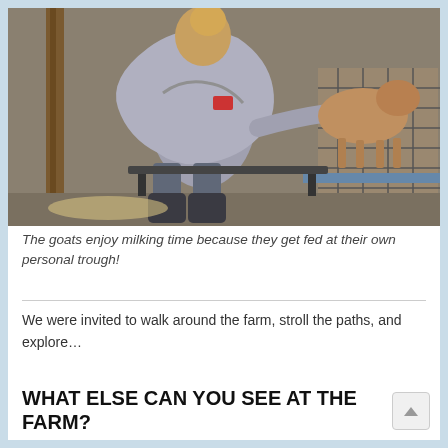[Figure (photo): A person in a gray hoodie and dark boots bending over a goat on a milking stand inside a barn with stone walls and wooden beams.]
The goats enjoy milking time because they get fed at their own personal trough!
We were invited to walk around the farm, stroll the paths, and explore…
WHAT ELSE CAN YOU SEE AT THE FARM?